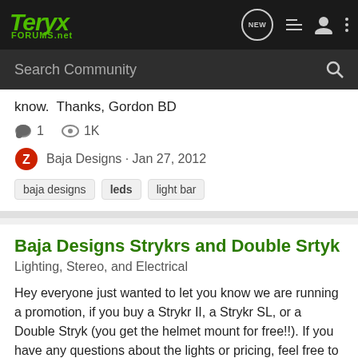Teryx FORUMS.net
Search Community
know.  Thanks, Gordon BD
1   1K
Baja Designs · Jan 27, 2012
baja designs   leds   light bar
Baja Designs Strykrs and Double Srtyk
Lighting, Stereo, and Electrical
Hey everyone just wanted to let you know we are running a promotion, if you buy a Strykr II, a Strykr SL, or a Double Stryk (you get the helmet mount for free!!). If you have any questions about the lights or pricing, feel free to ask. Thanks, Gordon BD Double Stryk System Battery powered...
0   1K